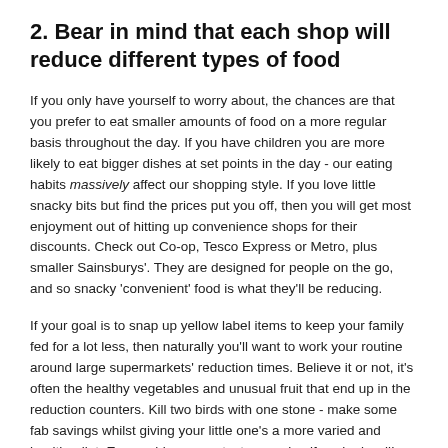2. Bear in mind that each shop will reduce different types of food
If you only have yourself to worry about, the chances are that you prefer to eat smaller amounts of food on a more regular basis throughout the day. If you have children you are more likely to eat bigger dishes at set points in the day - our eating habits massively affect our shopping style. If you love little snacky bits but find the prices put you off, then you will get most enjoyment out of hitting up convenience shops for their discounts. Check out Co-op, Tesco Express or Metro, plus smaller Sainsburys'. They are designed for people on the go, and so snacky 'convenient' food is what they'll be reducing.
If your goal is to snap up yellow label items to keep your family fed for a lot less, then naturally you'll want to work your routine around large supermarkets' reduction times. Believe it or not, it's often the healthy vegetables and unusual fruit that end up in the reduction counters. Kill two birds with one stone - make some fab savings whilst giving your little one's a more varied and healthy diet. Even cabbage can taste amazing if cooked well!